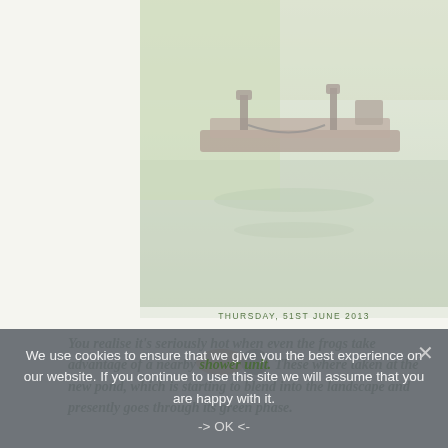[Figure (photo): Photo of a wooden raft or floating platform on a pond/water with tools on it, surrounded by green vegetation. Image is partially faded/washed out.]
THURSDAY, 51ST JUNE 2013
You realise it's seriously hot when even the frogs take advantage of a nearby shower unit. These where taken at the new pond, which is starting to blend into the landscape and presently goes through its green phase.
[Figure (photo): Photo of a building with red-tiled roof and trees, with '100%' text overlay in large dark type. Another partial text 'An ot he' visible on the right side.]
We use cookies to ensure that we give you the best experience on our website. If you continue to use this site we will assume that you are happy with it.
-> OK <-